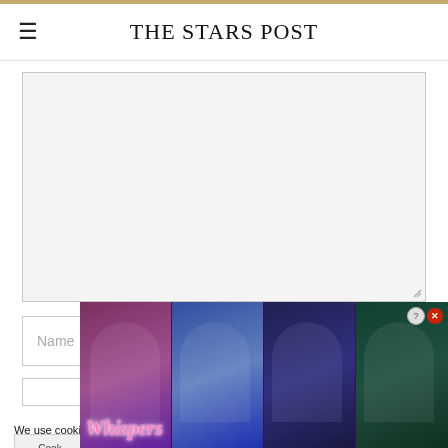THE STARS POST
[Figure (screenshot): Comment text area input box, large and empty with resize handle]
[Figure (screenshot): Name input field with placeholder text 'Name']
[Figure (screenshot): Email input field, empty]
We use cookies on our website to give you the most relevant experience by remembering your preferences and repeat visits. By clicking “Accept All”, you consent to the use of ALL the cookies. However, you may visit “Cookie Settings” to provide a controlled consent.
[Figure (advertisement): Whispers app advertisement overlay showing romantic visual novel game artwork with four character panels and 'Whispers' logo text in pink italic font. Close/help buttons visible in top right corner.]